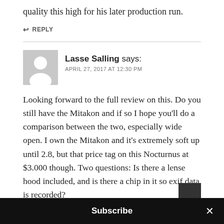quality this high for his later production run.
↩ REPLY
Lasse Salling says:
APRIL 27, 2017 AT 12:30 PM
Looking forward to the full review on this. Do you still have the Mitakon and if so I hope you'll do a comparison between the two, especially wide open. I own the Mitakon and it's extremely soft up until 2.8, but that price tag on this Nocturnus at $3.000 though. Two questions: Is there a lense hood included, and is there a chip in it so exif data is recorded?
Subscribe
×